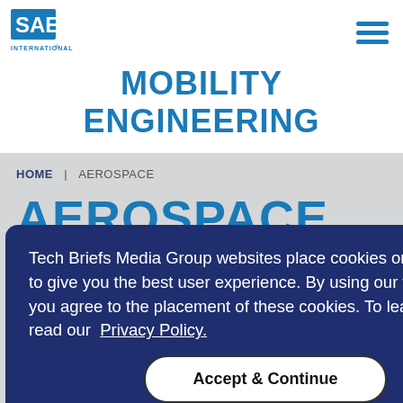SAE International logo and navigation menu
MOBILITY ENGINEERING
HOME | AEROSPACE
AEROSPACE
Tech Briefs Media Group websites place cookies on your device to give you the best user experience. By using our websites, you agree to the placement of these cookies. To learn more, read our Privacy Policy.
Accept & Continue